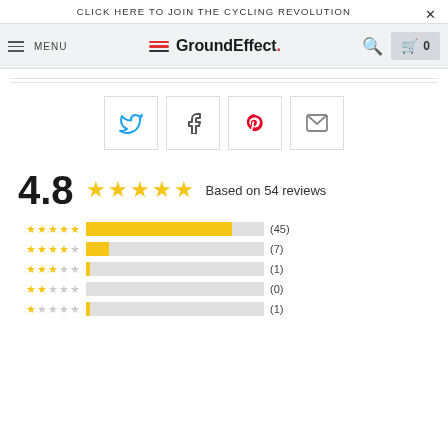CLICK HERE TO JOIN THE CYCLING REVOLUTION
[Figure (screenshot): GroundEffect website navigation bar with hamburger menu, logo, search, and cart icons]
[Figure (infographic): Social share buttons: Twitter, Facebook, Pinterest, Email]
4.8 ★★★★★ Based on 54 reviews
[Figure (bar-chart): Rating distribution]